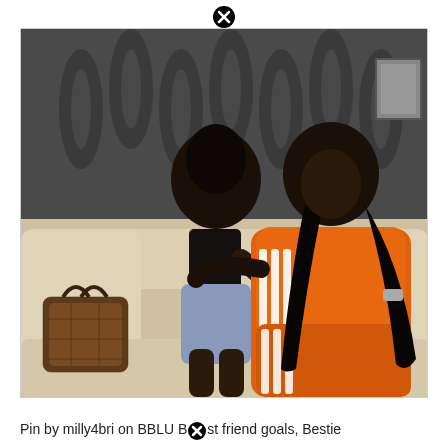[Figure (photo): Two young women hugging on a cream sofa. One wears a blue denim shorts with a black strappy top, the other wears an orange Adidas tracksuit. A Louis Vuitton bag is on the sofa to the left. Dark patterned wallpaper in background.]
Pin by milly4bri on BBLU Best friend goals, Bestie